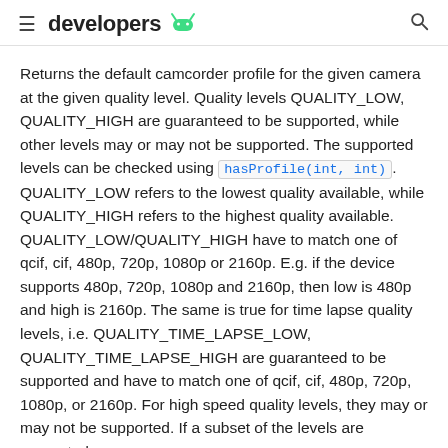≡ developers [android logo] [search icon]
Returns the default camcorder profile for the given camera at the given quality level. Quality levels QUALITY_LOW, QUALITY_HIGH are guaranteed to be supported, while other levels may or may not be supported. The supported levels can be checked using hasProfile(int, int). QUALITY_LOW refers to the lowest quality available, while QUALITY_HIGH refers to the highest quality available. QUALITY_LOW/QUALITY_HIGH have to match one of qcif, cif, 480p, 720p, 1080p or 2160p. E.g. if the device supports 480p, 720p, 1080p and 2160p, then low is 480p and high is 2160p. The same is true for time lapse quality levels, i.e. QUALITY_TIME_LAPSE_LOW, QUALITY_TIME_LAPSE_HIGH are guaranteed to be supported and have to match one of qcif, cif, 480p, 720p, 1080p, or 2160p. For high speed quality levels, they may or may not be supported. If a subset of the levels are supported,